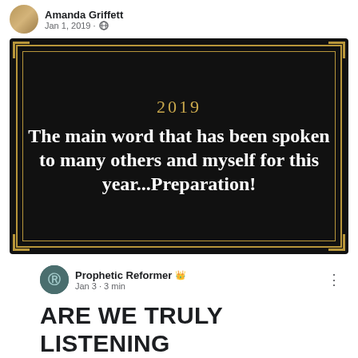Amanda Griffett
Jan 1, 2019 · Globe
[Figure (infographic): Dark decorative image with gold art-deco border. Text reads: '2019 / The main word that has been spoken to many others and myself for this year...Preparation!']
Prophetic Reformer 👑
Jan 3 · 3 min
ARE WE TRULY LISTENING TO ALL THE LORD IS TRYING TO SPEAK?? OR ONLY WHAT WE WANT